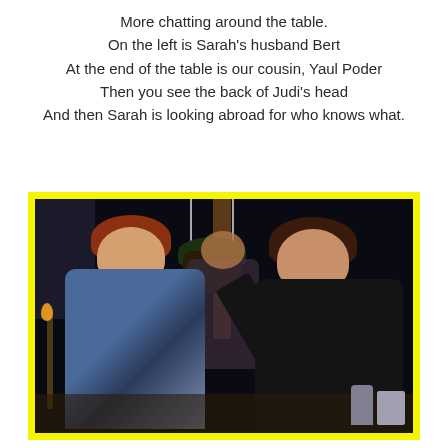More chatting around the table.
On the left is Sarah’s husband Bert
At the end of the table is our cousin, Yaul Poder
Then you see the back of Judi’s head
And then Sarah is looking abroad for who knows what.
[Figure (photo): Two women chatting outdoors at night. On the left is a woman with red/auburn hair wearing a blue patterned top. On the right is a woman with dark curly hair wearing a black top, holding up what appears to be a hanging plant. A third person is visible in the background center. There is a torch/tiki light on the left side and a wooden post in the center background. The photo has a bright yellow border.]